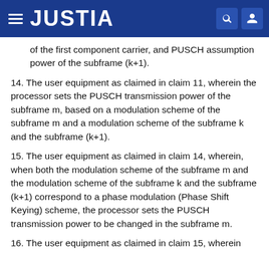JUSTIA
of the first component carrier, and PUSCH assumption power of the subframe (k+1).
14. The user equipment as claimed in claim 11, wherein the processor sets the PUSCH transmission power of the subframe m, based on a modulation scheme of the subframe m and a modulation scheme of the subframe k and the subframe (k+1).
15. The user equipment as claimed in claim 14, wherein, when both the modulation scheme of the subframe m and the modulation scheme of the subframe k and the subframe (k+1) correspond to a phase modulation (Phase Shift Keying) scheme, the processor sets the PUSCH transmission power to be changed in the subframe m.
16. The user equipment as claimed in claim 15, wherein